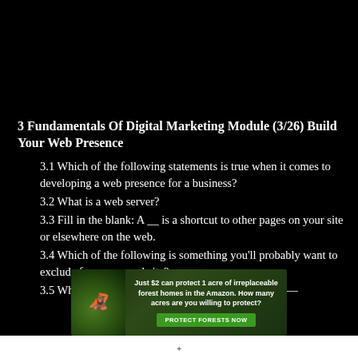3 Fundamentals Of Digital Marketing Module (3/26) Build Your Web Presence
3.1 Which of the following statements is true when it comes to developing a web presence for a business?
3.2 What is a web server?
3.3 Fill in the blank: A __ is a shortcut to other pages on your site or elsewhere on the web.
3.4 Which of the following is something you'll probably want to exclude from your website?
3.5 Which of the following is an example of a 'call to—
[Figure (photo): Advertisement banner: forest/Amazon conservation ad with monkey image. Text reads: 'Just $2 can protect 1 acre of irreplaceable forest homes in the Amazon. How many acres are you willing to protect?' with a green 'PROTECT FORESTS NOW' button.]